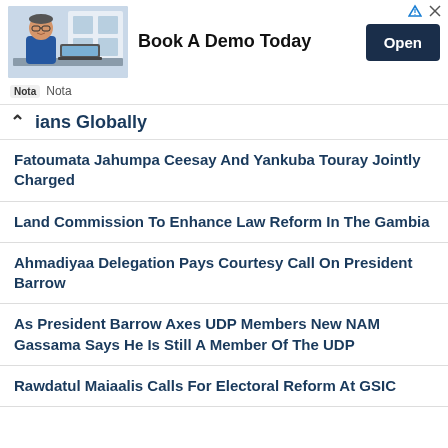[Figure (photo): Advertisement banner: man in glasses at desk with laptop. 'Book A Demo Today' text and 'Open' button. Powered by 'Nota' branding.]
ians Globally
Fatoumata Jahumpa Ceesay And Yankuba Touray Jointly Charged
Land Commission To Enhance Law Reform In The Gambia
Ahmadiyaa Delegation Pays Courtesy Call On President Barrow
As President Barrow Axes UDP Members New NAM Gassama Says He Is Still A Member Of The UDP
Rawdatul Maiaalis Calls For Electoral Reform At GSIC